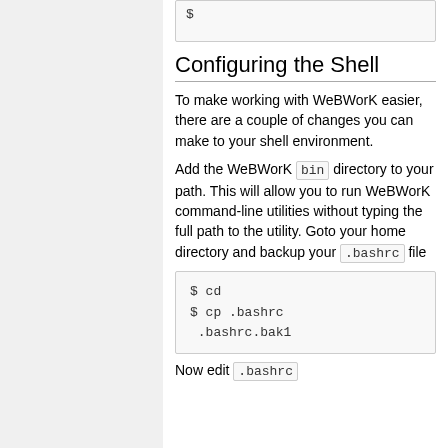$
Configuring the Shell
To make working with WeBWorK easier, there are a couple of changes you can make to your shell environment.
Add the WeBWorK bin directory to your path. This will allow you to run WeBWorK command-line utilities without typing the full path to the utility. Goto your home directory and backup your .bashrc file
$ cd
$ cp .bashrc .bashrc.bak1
Now edit .bashrc